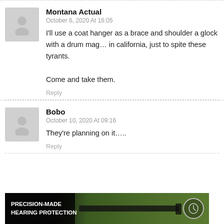Montana Actual
October 6, 2020 At 16:05
I'll use a coat hanger as a brace and shoulder a glock with a drum mag… in california, just to spite these tyrants.

Come and take them.
Reply
Bobo
October 10, 2020 At 09:16
They're planning on it…..
Reply
[Figure (photo): Advertisement banner: dark background with person shooting a rifle, logo on right. Text reads PRECISION-MADE HEARING PROTECTION]